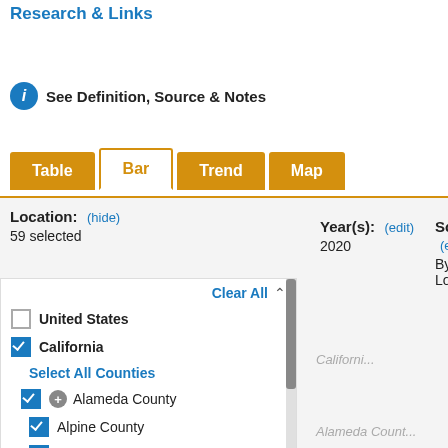Research & Links
See Definition, Source & Notes
Table | Bar | Trend | Map (tabs)
Location: (hide)
59 selected
Year(s): (edit)
2020
Sort: (e...)
By Loca...
Clear All
United States (unchecked)
California (checked)
Select All Counties
Alameda County (checked, with plus icon)
Alpine County (checked)
Amador County (checked)
Butte County (checked, with plus icon)
Californi...
Alameda Count...